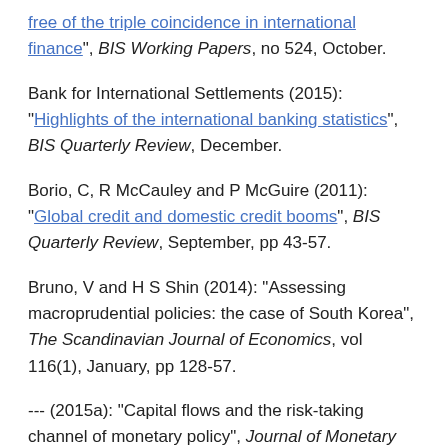free of the triple coincidence in international finance", BIS Working Papers, no 524, October.
Bank for International Settlements (2015): "Highlights of the international banking statistics", BIS Quarterly Review, December.
Borio, C, R McCauley and P McGuire (2011): "Global credit and domestic credit booms", BIS Quarterly Review, September, pp 43-57.
Bruno, V and H S Shin (2014): "Assessing macroprudential policies: the case of South Korea", The Scandinavian Journal of Economics, vol 116(1), January, pp 128-57.
--- (2015a): "Capital flows and the risk-taking channel of monetary policy", Journal of Monetary Economics, vol